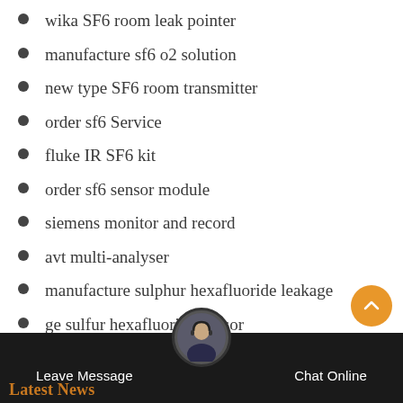wika SF6 room leak pointer
manufacture sf6 o2 solution
new type SF6 room transmitter
order sf6 Service
fluke IR SF6 kit
order sf6 sensor module
siemens monitor and record
avt multi-analyser
manufacture sulphur hexafluoride leakage
ge sulfur hexafluoride sensor
concordegas SF6 Air Sensor tools
Leave Message   Chat Online   Latest News